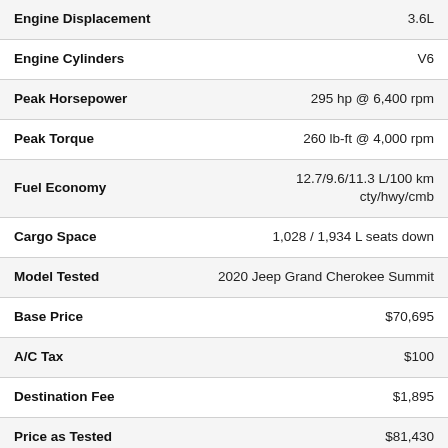| Specification | Value |
| --- | --- |
| Engine Displacement | 3.6L |
| Engine Cylinders | V6 |
| Peak Horsepower | 295 hp @ 6,400 rpm |
| Peak Torque | 260 lb-ft @ 4,000 rpm |
| Fuel Economy | 12.7/9.6/11.3 L/100 km
cty/hwy/cmb |
| Cargo Space | 1,028 / 1,934 L seats down |
| Model Tested | 2020 Jeep Grand Cherokee Summit |
| Base Price | $70,695 |
| A/C Tax | $100 |
| Destination Fee | $1,895 |
| Price as Tested | $81,430 |